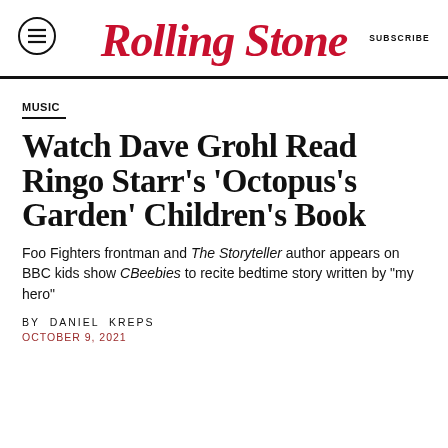Rolling Stone
MUSIC
Watch Dave Grohl Read Ringo Starr's 'Octopus's Garden' Children's Book
Foo Fighters frontman and The Storyteller author appears on BBC kids show CBeebies to recite bedtime story written by "my hero"
BY DANIEL KREPS
OCTOBER 9, 2021